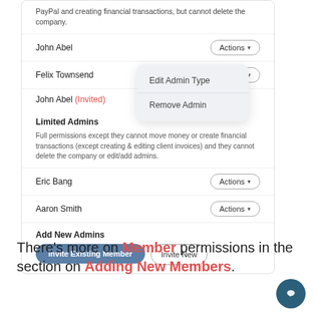PayPal and creating financial transactions, but cannot delete the company.
John Abel
Felix Townsend
John Abel (Invited)
Edit Admin Type
Remove Admin
Limited Admins
Full permissions except they cannot move money or create financial transactions (except creating & editing client invoices) and they cannot delete the company or edit/add admins.
Eric Bang
Aaron Smith
Add New Admins
Invite Existing Member
Invite New
There's more on Member permissions in the section on Adding New Members.